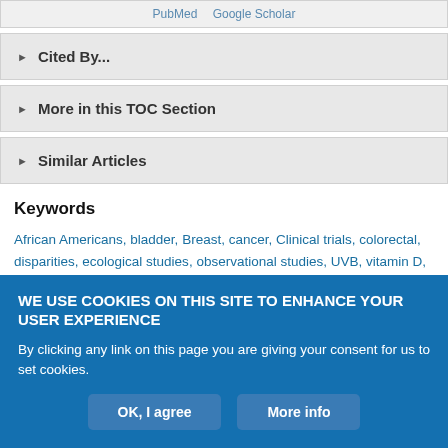PubMed   Google Scholar
▶ Cited By...
▶ More in this TOC Section
▶ Similar Articles
Keywords
African Americans, bladder, Breast, cancer, Clinical trials, colorectal, disparities, ecological studies, observational studies, UVB, vitamin D, review
WE USE COOKIES ON THIS SITE TO ENHANCE YOUR USER EXPERIENCE
By clicking any link on this page you are giving your consent for us to set cookies.
OK, I agree   More info